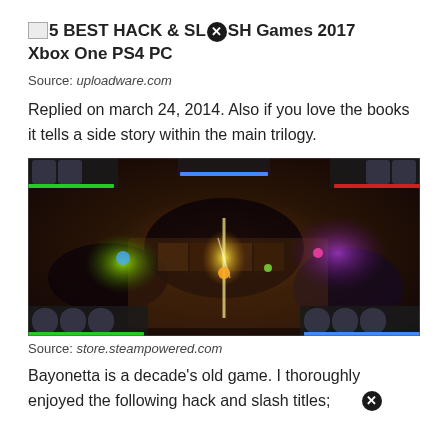5 BEST HACK & SLASH Games 2017 Xbox One PS4 PC
Source: uploadware.com
Replied on march 24, 2014. Also if you love the books it tells a side story within the main trilogy.
[Figure (screenshot): Video game screenshot showing a top-down hack and slash game with multiple characters, glowing effects in green, yellow, and purple, on a dark stone dungeon environment with UI elements including health bars and character portraits at corners.]
Source: store.steampowered.com
Bayonetta is a decade's old game. I thoroughly enjoyed the following hack and slash titles;